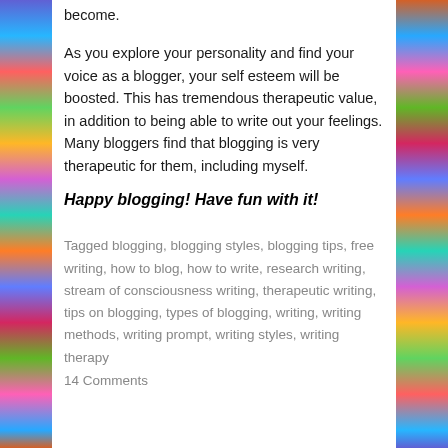become.
As you explore your personality and find your voice as a blogger, your self esteem will be boosted. This has tremendous therapeutic value, in addition to being able to write out your feelings. Many bloggers find that blogging is very therapeutic for them, including myself.
Happy blogging! Have fun with it!
Tagged blogging, blogging styles, blogging tips, free writing, how to blog, how to write, research writing, stream of consciousness writing, therapeutic writing, tips on blogging, types of blogging, writing, writing methods, writing prompt, writing styles, writing therapy
14 Comments